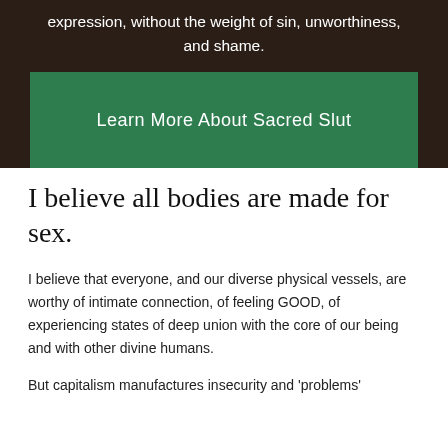expression, without the weight of sin, unworthiness, and shame.
Learn More About Sacred Slut
I believe all bodies are made for sex.
I believe that everyone, and our diverse physical vessels, are worthy of intimate connection, of feeling GOOD, of experiencing states of deep union with the core of our being and with other divine humans.
But capitalism manufactures insecurity and 'problems'